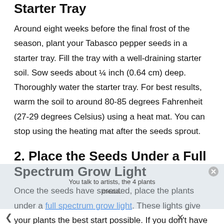Starter Tray
Around eight weeks before the final frost of the season, plant your Tabasco pepper seeds in a starter tray. Fill the tray with a well-draining starter soil. Sow seeds about ¼ inch (0.64 cm) deep. Thoroughly water the starter tray. For best results, warm the soil to around 80-85 degrees Fahrenheit (27-29 degrees Celsius) using a heat mat. You can stop using the heating mat after the seeds sprout.
2. Place the Seeds Under a Full Spectrum Grow Light
Once the seeds have sprouted, place the plants under a full spectrum grow light. These lights give your plants the best start possible. If you don't have a